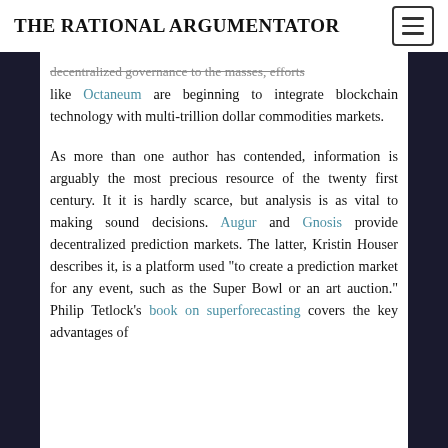THE RATIONAL ARGUMENTATOR
decentralized governance to the masses, efforts like Octaneum are beginning to integrate blockchain technology with multi-trillion dollar commodities markets.
As more than one author has contended, information is arguably the most precious resource of the twenty first century. It it is hardly scarce, but analysis is as vital to making sound decisions. Augur and Gnosis provide decentralized prediction markets. The latter, Kristin Houser describes it, is a platform used "to create a prediction market for any event, such as the Super Bowl or an art auction." Philip Tetlock’s book on superforecasting covers the key advantages of